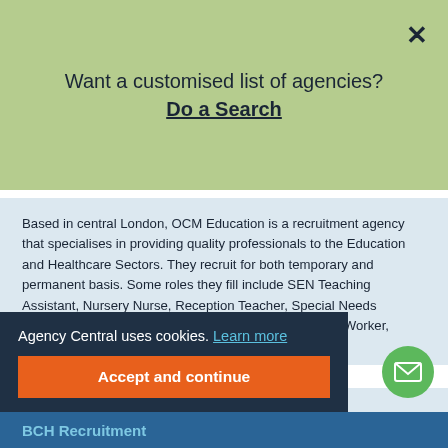Want a customised list of agencies? Do a Search
Based in central London, OCM Education is a recruitment agency that specialises in providing quality professionals to the Education and Healthcare Sectors. They recruit for both temporary and permanent basis. Some roles they fill include SEN Teaching Assistant, Nursery Nurse, Reception Teacher, Special Needs Teaching Assistant, Doctor, Nurse, Healthcare Support Worker, Auxiliary Medical Professional.
25 North Row, Mayfair, London, W1K 6DJ
Display number
Agency Central uses cookies. Learn more
Accept and continue
BCH Recruitment